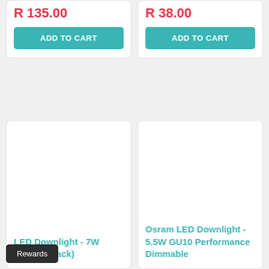R 135.00
ADD TO CART
R 38.00
ADD TO CART
[Figure (photo): Product image placeholder (blank/white) for LED Downlight 7W GU10 4 Pack]
LED Downlight - 7W GU10 (4 Pack)
[Figure (photo): Product image placeholder (blank/white) for Osram LED Downlight 5.5W GU10 Performance Dimmable]
Osram LED Downlight - 5.5W GU10 Performance Dimmable
Rewards